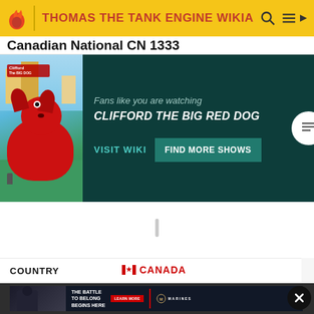THOMAS THE TANK ENGINE WIKIA
Canadian National CN 1333
[Figure (infographic): Clifford The Big Red Dog promotional ad banner with dark teal background. Left side shows Clifford book/show cover with big red dog. Text reads: Fans like you are watching CLIFFORD THE BIG RED DOG. Buttons: VISIT WIKI and FIND MORE SHOWS.]
COUNTRY
CANADA
[Figure (infographic): Marines recruitment advertisement. Left side shows soldier in tactical gear. Text: THE BATTLE TO BELONG BEGINS HERE. Button: LEARN MORE. Marines logo and MARINES text on right.]